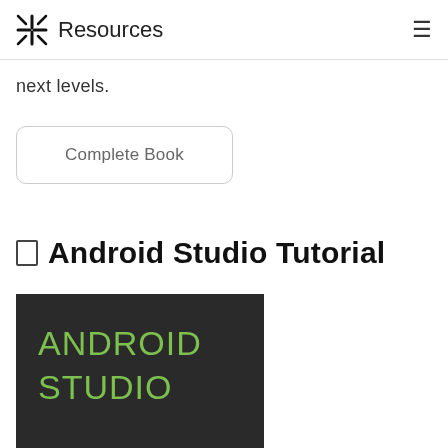Resources
next levels.
Complete Book
Android Studio Tutorial
[Figure (photo): Book cover with dark background showing text 'ANDROID STUDIO' in green letters]